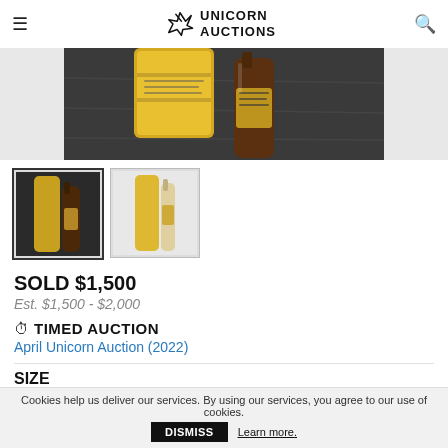UNICORN AUCTIONS
[Figure (photo): Close-up photo of two whiskey/spirits bottles with yellow cylindrical packaging and brown glass bottles on a dark wood surface]
[Figure (photo): Thumbnail 1: Two bottles with yellow packaging against dark background]
[Figure (photo): Thumbnail 2: Two bottles with yellow packaging against light background]
SOLD $1,500
Est. $1,500 - $2,000
TIMED AUCTION
April Unicorn Auction (2022)
SIZE
750 ml
CATEGORY
Cookies help us deliver our services. By using our services, you agree to our use of cookies.